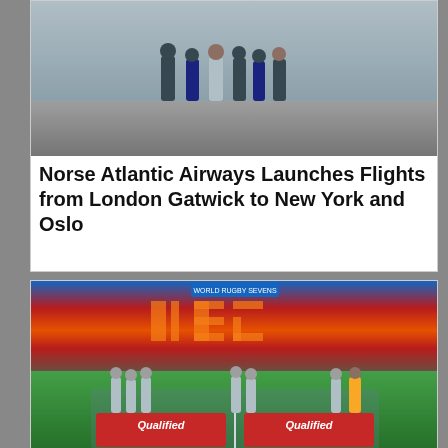[Figure (photo): People standing on airport tarmac, likely officials for Norse Atlantic Airways launch event at London Gatwick]
Norse Atlantic Airways Launches Flights from London Gatwick to New York and Oslo
[Figure (photo): Rugby teams celebrating on a stadium pitch holding red 'Qualified' banners for Rugby World Sevens Series, with colorful stadium seats in background showing 'UAE' letters]
Japan Women and Uruguay Men Promoted After Winning Rugby Sevens Challenger in Chile